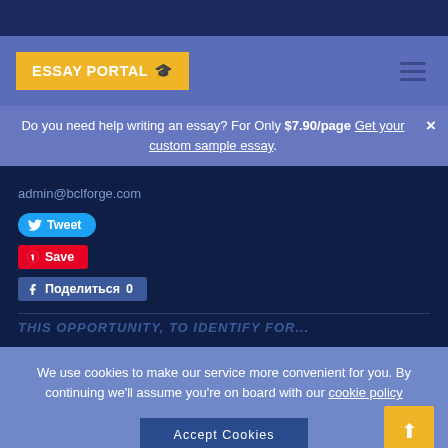ESSAY PORTAL
Do you need help writing an essay? For Only $7.90/page Get your custom sample essay.
admin@bclforge.com
Tweet
Save
Поделиться 0
We use cookies to make our service more convenient for you. By continuing we'll assume you're on board with our cookie policy
Accept Cookies